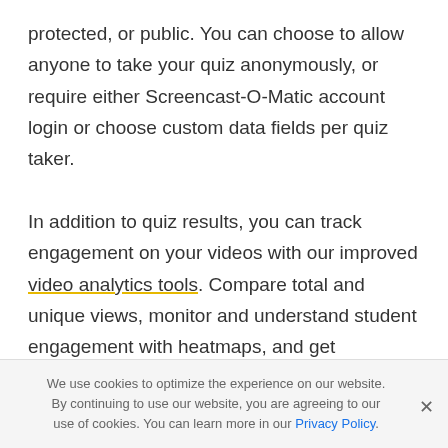protected, or public. You can choose to allow anyone to take your quiz anonymously, or require either Screencast-O-Matic account login or choose custom data fields per quiz taker.

In addition to quiz results, you can track engagement on your videos with our improved video analytics tools. Compare total and unique views, monitor and understand student engagement with heatmaps, and get additional viewer insights, including browser and device
We use cookies to optimize the experience on our website. By continuing to use our website, you are agreeing to our use of cookies. You can learn more in our Privacy Policy.